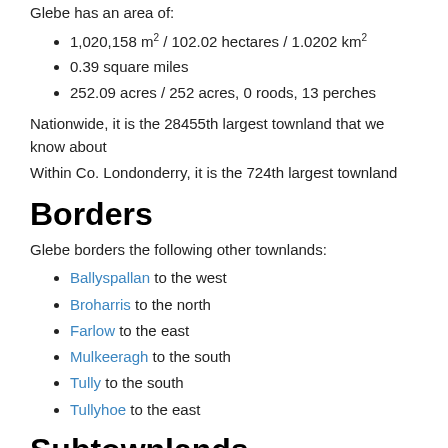Glebe has an area of:
1,020,158 m² / 102.02 hectares / 1.0202 km²
0.39 square miles
252.09 acres / 252 acres, 0 roods, 13 perches
Nationwide, it is the 28455th largest townland that we know about
Within Co. Londonderry, it is the 724th largest townland
Borders
Glebe borders the following other townlands:
Ballyspallan to the west
Broharris to the north
Farlow to the east
Mulkeeragh to the south
Tully to the south
Tullyhoe to the east
Subtownlands
We don't know about any subtownlands in Glebe.